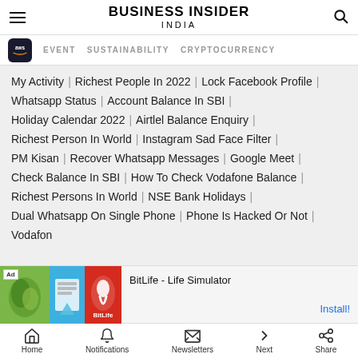BUSINESS INSIDER INDIA
EVENT | SUSTAINABILITY | CRYPTOCURRENCY
My Activity | Richest People In 2022 | Lock Facebook Profile |
Whatsapp Status | Account Balance In SBI |
Holiday Calendar 2022 | Airtlel Balance Enquiry |
Richest Person In World | Instagram Sad Face Filter |
PM Kisan | Recover Whatsapp Messages | Google Meet |
Check Balance In SBI | How To Check Vodafone Balance |
Richest Persons In World | NSE Bank Holidays |
Dual Whatsapp On Single Phone | Phone Is Hacked Or Not |
Vodafon…
[Figure (screenshot): Ad banner for BitLife - Life Simulator app with Install! button]
Home | Notifications | Newsletters | Next | Share